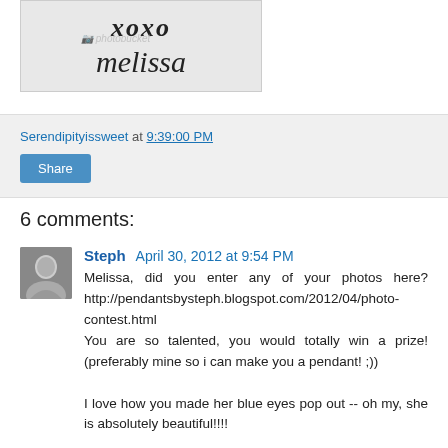[Figure (photo): Handwritten cursive signature reading 'xoxo melissa' on a light gray background with a Photobucket watermark]
Serendipityissweet at 9:39:00 PM
Share
6 comments:
[Figure (photo): Black and white avatar photo of a smiling woman]
Steph April 30, 2012 at 9:54 PM
Melissa, did you enter any of your photos here? http://pendantsbysteph.blogspot.com/2012/04/photo-contest.html
You are so talented, you would totally win a prize! (preferably mine so i can make you a pendant! ;))

I love how you made her blue eyes pop out -- oh my, she is absolutely beautiful!!!!